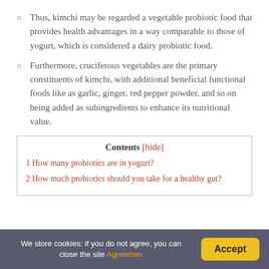Thus, kimchi may be regarded a vegetable probiotic food that provides health advantages in a way comparable to those of yogurt, which is considered a dairy probiotic food.
Furthermore, cruciferous vegetables are the primary constituents of kimchi, with additional beneficial functional foods like as garlic, ginger, red pepper powder, and so on being added as subingredients to enhance its nutritional value.
Contents [hide]
1 How many probiotics are in yogurt?
2 How much probiotics should you take for a healthy gut?
We store cookies: if you do not agree, you can close the site Agreemen